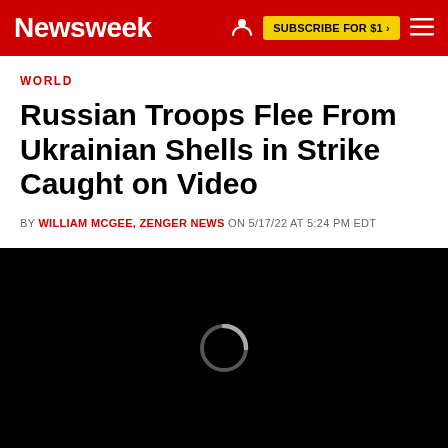Newsweek | SUBSCRIBE FOR $1 >
WORLD
Russian Troops Flee From Ukrainian Shells in Strike Caught on Video
BY WILLIAM MCGEE, ZENGER NEWS ON 5/17/22 AT 5:24 PM EDT
[Figure (screenshot): Black video loading screen with a circular spinner/loading indicator in the center]